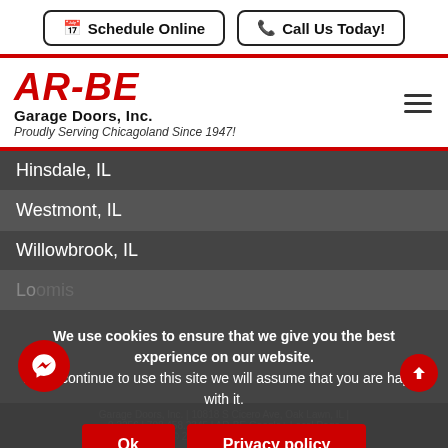[Figure (screenshot): Schedule Online and Call Us Today buttons at top of website header]
[Figure (logo): AR-BE Garage Doors, Inc. logo with tagline Proudly Serving Chicagoland Since 1947!]
Hinsdale, IL
Westmont, IL
Willowbrook, IL
We use cookies to ensure that we give you the best experience on our website. If you continue to use this site we will assume that you are happy with it.
Ok
Privacy policy
Garage Doors, Inc. | 10818 S Cicero Ave, Oak Lawn, IL | 0.3256 | 708.458.2345 | AR-BE Google+ Local Page Copyright © 2022 All Rights Reserved | BBB